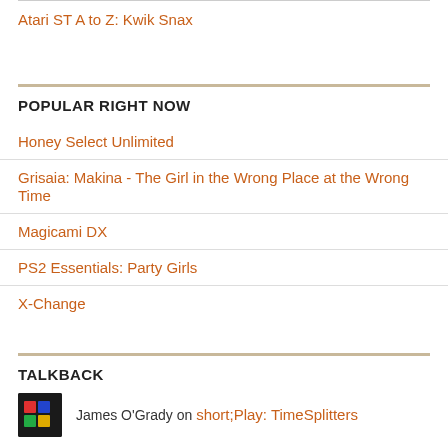Atari ST A to Z: Kwik Snax
POPULAR RIGHT NOW
Honey Select Unlimited
Grisaia: Makina - The Girl in the Wrong Place at the Wrong Time
Magicami DX
PS2 Essentials: Party Girls
X-Change
TALKBACK
James O'Grady on short;Play: TimeSplitters